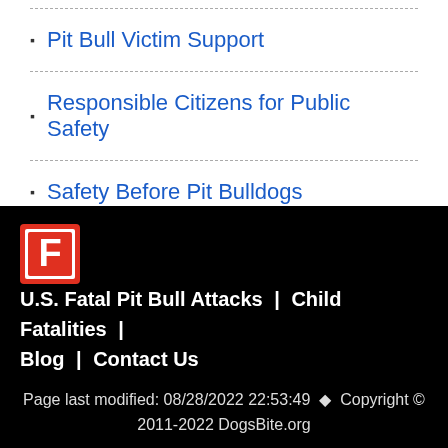Pit Bull Victim Support
Responsible Citizens for Public Safety
Safety Before Pit Bulldogs
U.S. Fatal Pit Bull Attacks | Child Fatalities | Blog | Contact Us
Page last modified: 08/28/2022 22:53:49 ◆ Copyright © 2011-2022 DogsBite.org